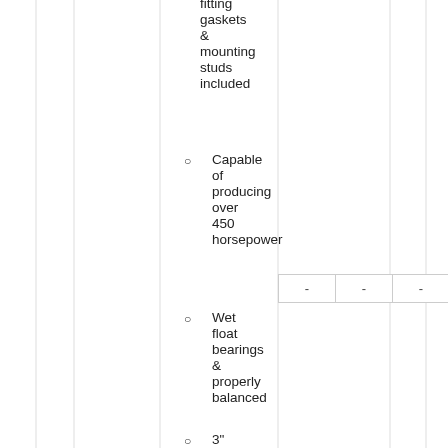fitting gaskets & mounting studs included
Capable of producing over 450 horsepower
Wet float bearings & properly balanced
3"
| - | - | - |